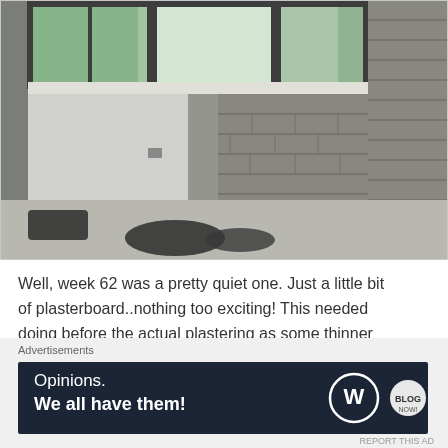[Figure (photo): Interior construction photo showing a room under renovation with a bay window, exposed cinder block walls on the right, plasterboard on the left wall, bare concrete floor with black roofing felt/material rolled up in the corner, visible outside through the window showing trees and houses]
Well, week 62 was a pretty quiet one. Just a little bit of plasterboard..nothing too exciting! This needed doing before the actual plastering as some thinner pieces
Advertisements
[Figure (infographic): Dark navy advertisement banner reading 'Opinions. We all have them!' with WordPress logo and a secondary circular logo on the right side]